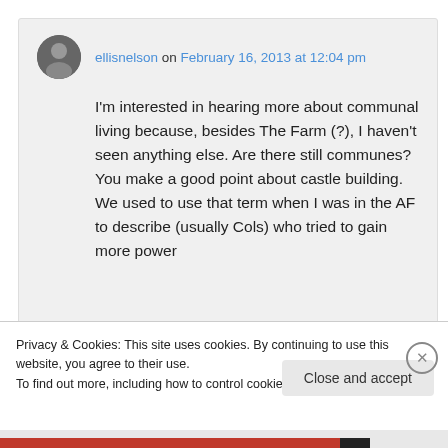ellisnelson on February 16, 2013 at 12:04 pm
I'm interested in hearing more about communal living because, besides The Farm (?), I haven't seen anything else. Are there still communes? You make a good point about castle building. We used to use that term when I was in the AF to describe (usually Cols) who tried to gain more power
Privacy & Cookies: This site uses cookies. By continuing to use this website, you agree to their use.
To find out more, including how to control cookies, see here: Cookie Policy
Close and accept